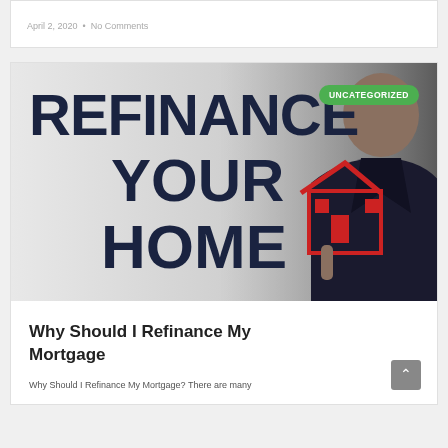April 2, 2020 • No Comments
[Figure (photo): Blog post header image showing bold dark text 'REFINANCE YOUR HOME' on a light background, with a person in a suit holding up a red house icon illustration. A green 'UNCATEGORIZED' badge is overlaid in the top right.]
Why Should I Refinance My Mortgage
Why Should I Refinance My Mortgage? There are many